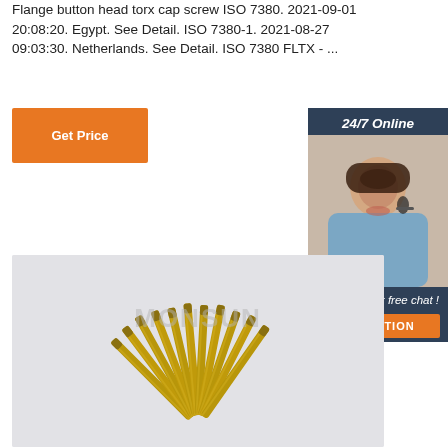Flange button head torx cap screw ISO 7380. 2021-09-01 20:08:20. Egypt. See Detail. ISO 7380-1. 2021-08-27 09:03:30. Netherlands. See Detail. ISO 7380 FLTX - ...
Get Price
[Figure (photo): Customer service representative (woman with headset) with '24/7 Online' header, 'Click here for free chat!' text, and orange QUOTATION button on dark blue sidebar]
[Figure (photo): Photo of multiple flange button head torx cap screws arranged in a fan/arc pattern on a light grey background, with MONSUN watermark]